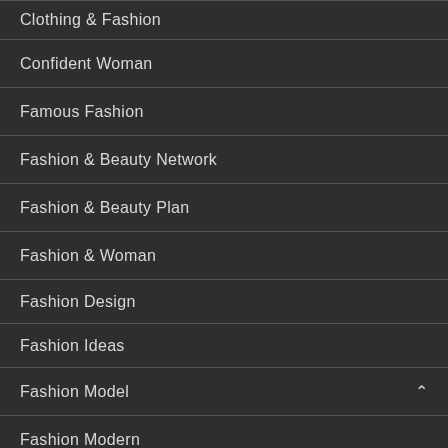Clothing & Fashion
Confident Woman
Famous Fashion
Fashion & Beauty Network
Fashion & Beauty Plan
Fashion & Woman
Fashion Design
Fashion Ideas
Fashion Model
Fashion Modern